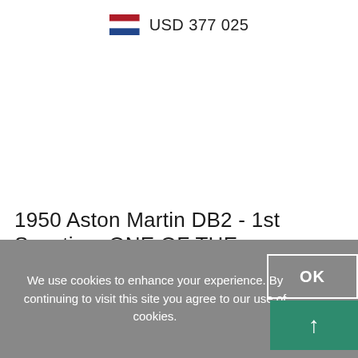USD 377 025
1950 Aston Martin DB2 - 1st Sanction, ONE OF THE
We use cookies to enhance your experience. By continuing to visit this site you agree to our use of cookies.